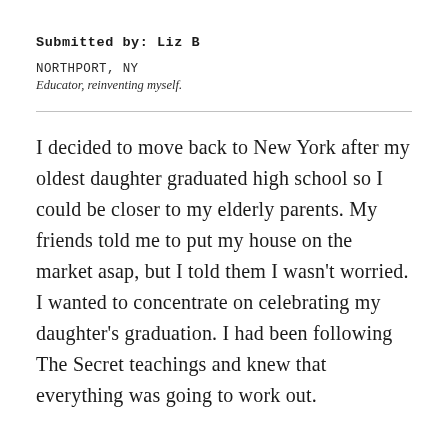Submitted by: Liz B
NORTHPORT, NY
Educator, reinventing myself.
I decided to move back to New York after my oldest daughter graduated high school so I could be closer to my elderly parents. My friends told me to put my house on the market asap, but I told them I wasn't worried. I wanted to concentrate on celebrating my daughter's graduation. I had been following The Secret teachings and knew that everything was going to work out.